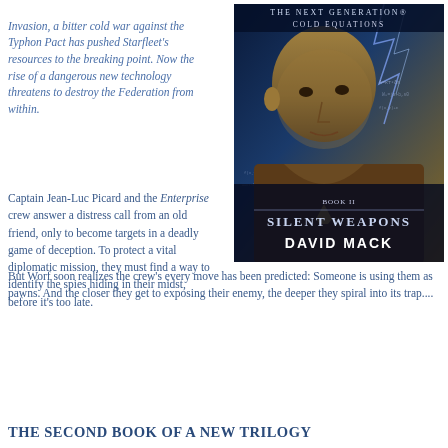Invasion, a bitter cold war against the Typhon Pact has pushed Starfleet's resources to the breaking point. Now the rise of a dangerous new technology threatens to destroy the Federation from within.
[Figure (illustration): Book cover of Star Trek: The Next Generation Cold Equations, Book II: Silent Weapons by David Mack. Shows Captain Jean-Luc Picard in Starfleet uniform against a background of mathematical equations and lightning. Header reads THE NEXT GENERATION COLD EQUATIONS, then BOOK II, SILENT WEAPONS, DAVID MACK.]
Captain Jean-Luc Picard and the Enterprise crew answer a distress call from an old friend, only to become targets in a deadly game of deception. To protect a vital diplomatic mission, they must find a way to identify the spies hiding in their midst, before it's too late.
But Worf soon realizes the crew's every move has been predicted: Someone is using them as pawns. And the closer they get to exposing their enemy, the deeper they spiral into its trap....
THE SECOND BOOK OF A NEW TRILOGY